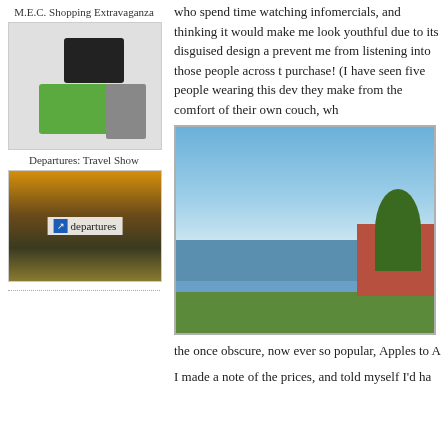M.E.C. Shopping Extravaganza
[Figure (photo): M.E.C. Shopping Extravaganza - photo of outdoor/sporting goods including green shorts, dark bag, and gray items on white background]
Departures: Travel Show
[Figure (photo): Departures Travel Show thumbnail - dramatic mountain and cloudy sky with 'departures' logo overlay]
who spend time watching infomercials, and thinking it would make me look youthful due to its disguised design a prevent me from listening into those people across t purchase! (I have seen five people wearing this dev they make from the comfort of their own couch, wh
[Figure (photo): Outdoor waterfront scene - blue sky with clouds, water/bay in background, green grass in foreground, brick building on right, tree visible]
the once obscure, now ever so popular, Apples to A
I made a note of the prices, and told myself I'd ha